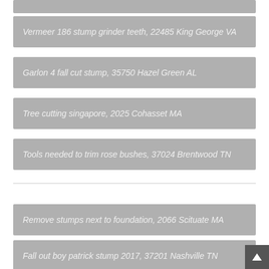Vermeer 186 stump grinder teeth, 22485 King George VA
Garlon 4 fall cut stump, 35750 Hazel Green AL
Tree cutting singapore, 2025 Cohasset MA
Tools needed to trim rose bushes, 37024 Brentwood TN
Remove stumps next to foundation, 2066 Scituate MA
Fall out boy patrick stump 2017, 37201 Nashville TN